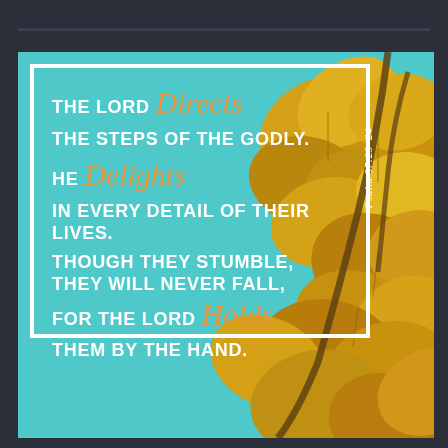[Figure (illustration): A square image with a teal/turquoise sky background and golden autumn tree leaves in the right portion. Over the teal background on the left is a white-bordered box containing a Bible verse in white uppercase bold text with orange cursive accent words. A thin horizontal dark bar appears at the top of the outer dark frame.]
THE LORD Directs THE STEPS OF THE GODLY. HE Delights IN EVERY DETAIL OF THEIR LIVES. THOUGH THEY STUMBLE, THEY WILL NEVER FALL, FOR THE LORD Holds THEM BY THE HAND. Psalm 37:23–24